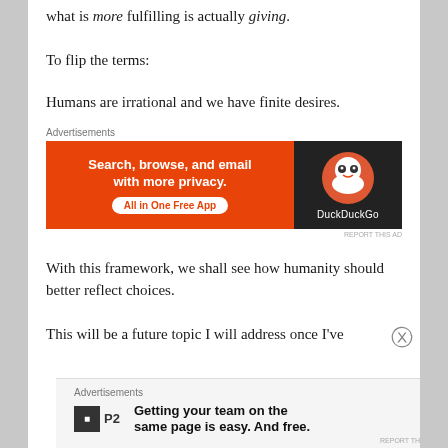what is more fulfilling is actually giving.
To flip the terms:
Humans are irrational and we have finite desires.
[Figure (other): DuckDuckGo advertisement banner: Search, browse, and email with more privacy. All in One Free App.]
With this framework, we shall see how humanity should better reflect choices.
This will be a future topic I will address once I've
[Figure (other): P2 advertisement: Getting your team on the same page is easy. And free.]